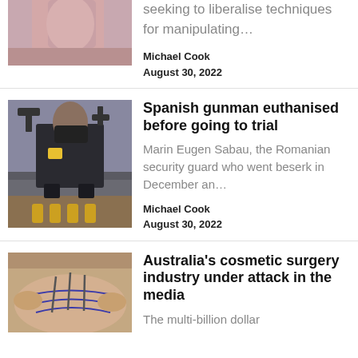[Figure (photo): Partial view of a person, cropped at top, pink/flesh tones]
seeking to liberalise techniques for manipulating…
Michael Cook
August 30, 2022
[Figure (photo): Man in security guard uniform holding guns, wearing black face mask]
Spanish gunman euthanised before going to trial
Marin Eugen Sabau, the Romanian security guard who went beserk in December an…
Michael Cook
August 30, 2022
[Figure (photo): Cosmetic surgery procedure, hands on torso with drawn lines]
Australia's cosmetic surgery industry under attack in the media
The multi-billion dollar